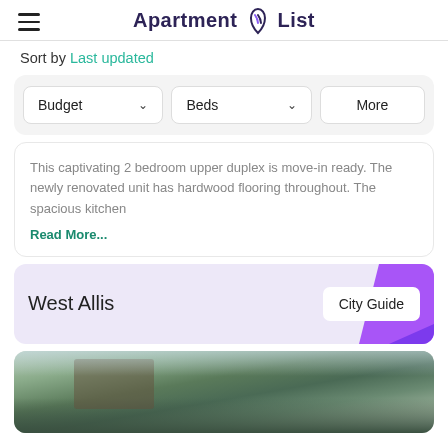Apartment List
Sort by Last updated
Budget   Beds   More
This captivating 2 bedroom upper duplex is move-in ready. The newly renovated unit has hardwood flooring throughout. The spacious kitchen Read More...
West Allis   City Guide
[Figure (photo): Exterior photo of a house partially obscured by trees, daytime sky, green foliage.]